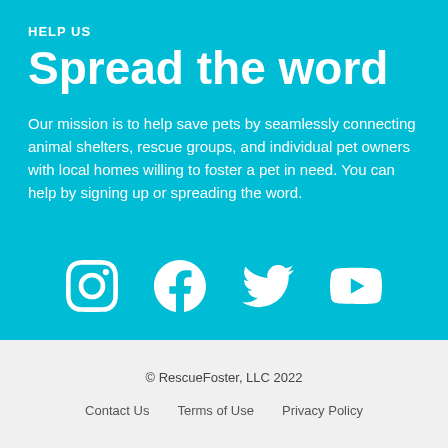HELP US
Spread the word
Our mission is to help save pets by seamlessly connecting animal shelters, rescue groups, and individual pet owners with local homes willing to foster a pet in need. You can help by signing up or spreading the word.
[Figure (infographic): Four white social media icons on teal background: Instagram, Facebook, Twitter, YouTube]
© RescueFoster, LLC 2022   Contact Us   Terms of Use   Privacy Policy